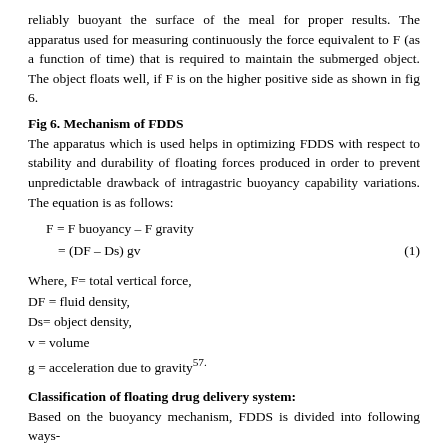reliably buoyant the surface of the meal for proper results. The apparatus used for measuring continuously the force equivalent to F (as a function of time) that is required to maintain the submerged object. The object floats well, if F is on the higher positive side as shown in fig 6.
Fig 6. Mechanism of FDDS
The apparatus which is used helps in optimizing FDDS with respect to stability and durability of floating forces produced in order to prevent unpredictable drawback of intragastric buoyancy capability variations. The equation is as follows:
Where, F= total vertical force,
DF = fluid density,
Ds= object density,
v = volume
g = acceleration due to gravity57.
Classification of floating drug delivery system:
Based on the buoyancy mechanism, FDDS is divided into following ways-
(A) Effervescent system
Gas generating system
Volatile liquid containing system